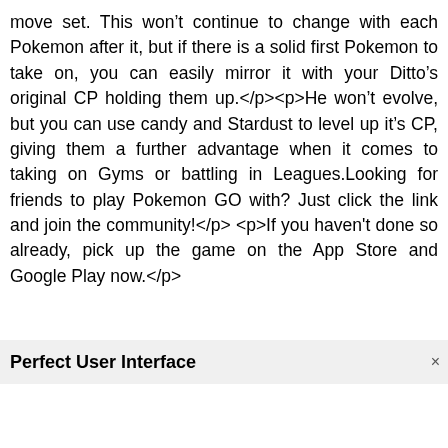move set. This won&rsquo;t continue to change with each Pokemon after it, but if there is a solid first Pokemon to take on, you can easily mirror it with your Ditto&rsquo;s original CP holding them up.</p><p>He won&rsquo;t evolve, but you can use candy and Stardust to level up it&rsquo;s CP, giving them a further advantage when it comes to taking on Gyms or battling in Leagues.Looking for friends to play Pokemon GO with? Just click the link and join the community!</p><p>If you haven't done so already, pick up the game on the App Store and Google Play now.</p>
Perfect User Interface